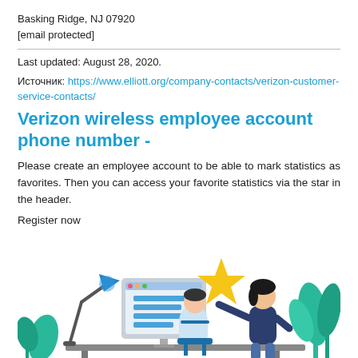Basking Ridge, NJ 07920
[email protected]
Last updated: August 28, 2020.
Источник: https://www.elliott.org/company-contacts/verizon-customer-service-contacts/
Verizon wireless employee account phone number -
Please create an employee account to be able to mark statistics as favorites. Then you can access your favorite statistics via the star in the header.
Register now
[Figure (illustration): Illustration of two people at a computer desk with a large monitor showing a list, a yellow star above the monitor, a blue desk lamp on the left, and green plants on the right.]